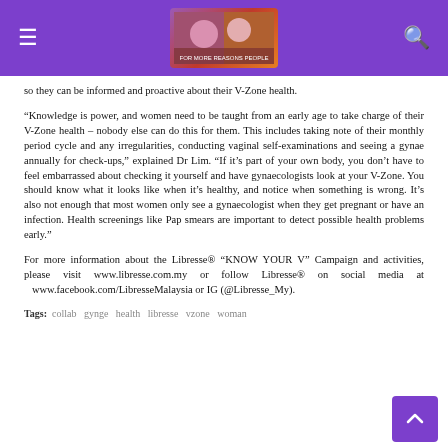≡  [logo image]  🔍
so they can be informed and proactive about their V-Zone health.
“Knowledge is power, and women need to be taught from an early age to take charge of their V-Zone health – nobody else can do this for them. This includes taking note of their monthly period cycle and any irregularities, conducting vaginal self-examinations and seeing a gynae annually for check-ups,” explained Dr Lim. “If it’s part of your own body, you don’t have to feel embarrassed about checking it yourself and have gynaecologists look at your V-Zone. You should know what it looks like when it’s healthy, and notice when something is wrong. It’s also not enough that most women only see a gynaecologist when they get pregnant or have an infection. Health screenings like Pap smears are important to detect possible health problems early.”
For more information about the Libresse® “KNOW YOUR V” Campaign and activities, please visit www.libresse.com.my or follow Libresse® on social media at www.facebook.com/LibresseMalaysia or IG (@Libresse_My).
Tags: collab  gynge  health  libresse  vzone  woman